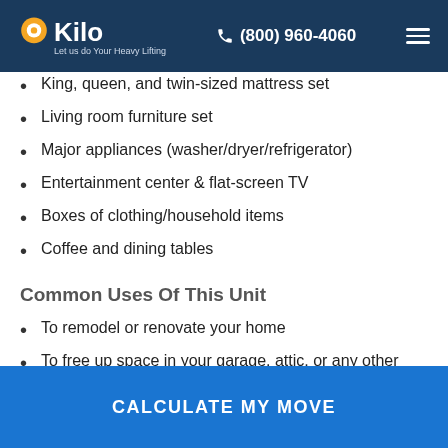Kilo — Let us do Your Heavy Lifting | (800) 960-4060
King, queen, and twin-sized mattress set
Living room furniture set
Major appliances (washer/dryer/refrigerator)
Entertainment center & flat-screen TV
Boxes of clothing/household items
Coffee and dining tables
Common Uses Of This Unit
To remodel or renovate your home
To free up space in your garage, attic, or any other room
To shift to a small home for a short duration of time
CALCULATE MY MOVE